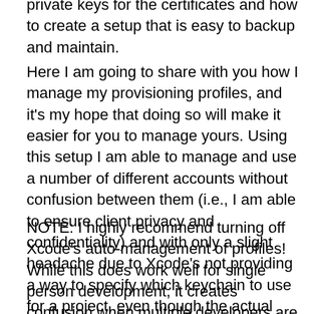private keys for the certificates and how to create a setup that is easy to backup and maintain.
Here I am going to share with you how I manage my provisioning profiles, and it's my hope that doing so will make it easier for you to manage yours. Using this setup I am able to manage and use a number of different accounts without confusion between them (i.e., I am able to ensure client privacy and confidentiality) and with only a slight headache due to Xcode's not providing a way to specify which keychain to use for a project, even though the actual program Xcode uses for signing takes a keychain parameter.
NOTE: I highly recommend turning off Xcode's auto-management of profiles! While this does work well for single person development, it creates confusion when multiple developers are wanting to manage signing profiles and application ids. It's better long term to take a